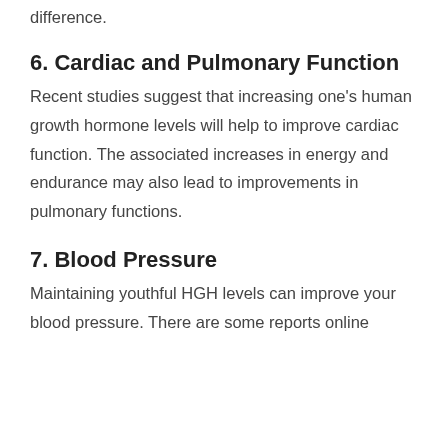difference.
6. Cardiac and Pulmonary Function
Recent studies suggest that increasing one's human growth hormone levels will help to improve cardiac function. The associated increases in energy and endurance may also lead to improvements in pulmonary functions.
7. Blood Pressure
Maintaining youthful HGH levels can improve your blood pressure. There are some reports online